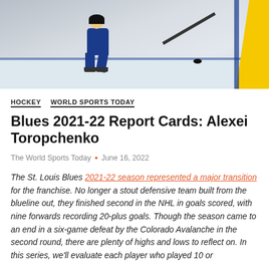[Figure (photo): Hockey player in blue and yellow St. Louis Blues uniform skating on ice, with a hockey stick and puck visible]
HOCKEY   WORLD SPORTS TODAY
Blues 2021-22 Report Cards: Alexei Toropchenko
The World Sports Today • June 16, 2022
The St. Louis Blues 2021-22 season represented a major transition for the franchise. No longer a stout defensive team built from the blueline out, they finished second in the NHL in goals scored, with nine forwards recording 20-plus goals. Though the season came to an end in a six-game defeat by the Colorado Avalanche in the second round, there are plenty of highs and lows to reflect on. In this series, we'll evaluate each player who played 10 or